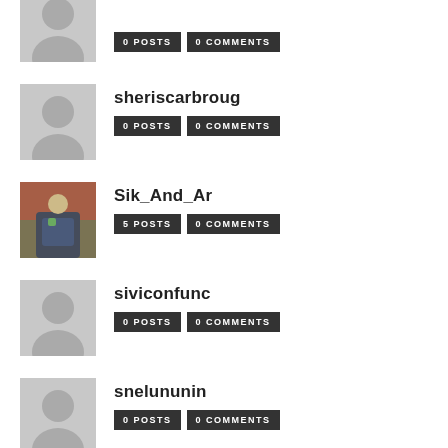[Figure (other): Gray placeholder avatar silhouette (partial, top of page)]
0 POSTS
0 COMMENTS
sheriscarbroug
0 POSTS
0 COMMENTS
[Figure (other): Gray placeholder avatar silhouette]
Sik_And_Ar
5 POSTS
0 COMMENTS
[Figure (photo): Person wearing mask standing outdoors]
siviconfunc
0 POSTS
0 COMMENTS
[Figure (other): Gray placeholder avatar silhouette]
snelununin
0 POSTS
0 COMMENTS
[Figure (other): Gray placeholder avatar silhouette]
sohel1977
[Figure (photo): Person portrait photo (partially visible at bottom)]